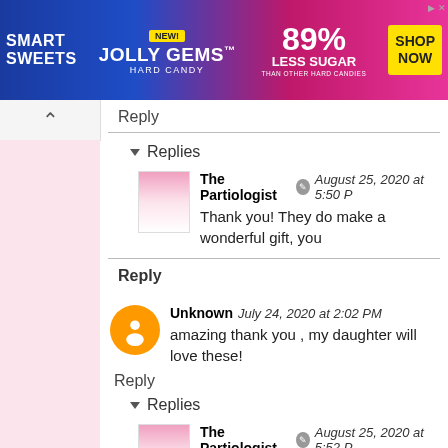[Figure (other): Smart Sweets Jolly Gems Hard Candy advertisement banner. Says NEW! JOLLY GEMS HARD CANDY, 89% LESS SUGAR THAN OTHER HARD CANDIES, SHOP NOW button.]
Reply
▼ Replies
The Partiologist  August 25, 2020 at 5:50 P
Thank you! They do make a wonderful gift, you
Reply
Unknown  July 24, 2020 at 2:02 PM
amazing thank you , my daughter will love these!
Reply
▼ Replies
The Partiologist  August 25, 2020 at 5:52 P
You're very welcome have fun!